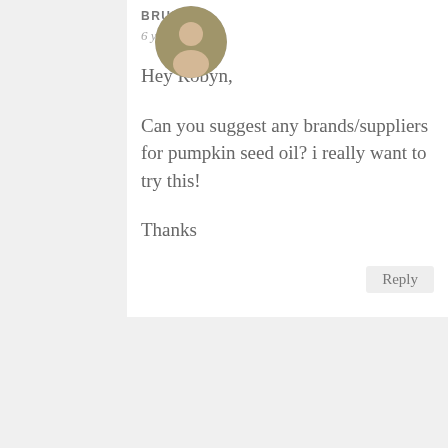BRUNO
6 years ago
Hey Robyn,

Can you suggest any brands/suppliers for pumpkin seed oil? i really want to try this!

Thanks
Reply
ROBYN
6 years ago
Hi Bruno,